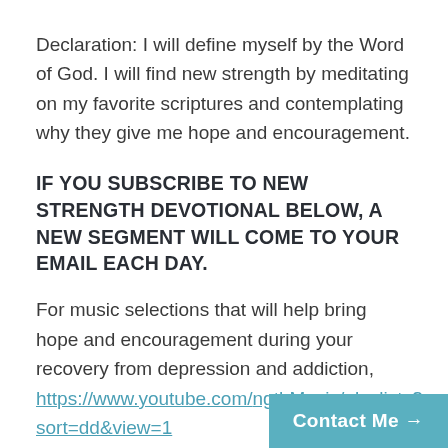Declaration: I will define myself by the Word of God. I will find new strength by meditating on my favorite scriptures and contemplating why they give me hope and encouragement.
IF YOU SUBSCRIBE TO NEW STRENGTH DEVOTIONAL BELOW, A NEW SEGMENT WILL COME TO YOUR EMAIL EACH DAY.
For music selections that will help bring hope and encouragement during your recovery from depression and addiction, https://www.youtube.com/ngthMusic/playlists?sort=dd&view=1